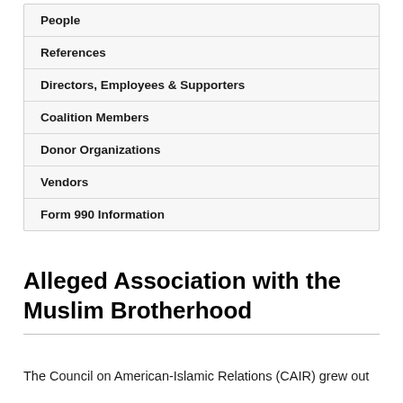People
References
Directors, Employees & Supporters
Coalition Members
Donor Organizations
Vendors
Form 990 Information
Alleged Association with the Muslim Brotherhood
The Council on American-Islamic Relations (CAIR) grew out